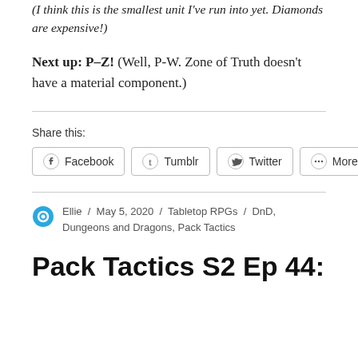(I think this is the smallest unit I've run into yet. Diamonds are expensive!)
Next up: P–Z! (Well, P-W. Zone of Truth doesn't have a material component.)
Share this:
Facebook  Tumblr  Twitter  More
Ellie / May 5, 2020 / Tabletop RPGs / DnD, Dungeons and Dragons, Pack Tactics
Pack Tactics S2 Ep 44: